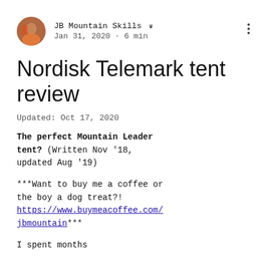JB Mountain Skills  Jan 31, 2020 · 6 min
Nordisk Telemark tent review
Updated: Oct 17, 2020
The perfect Mountain Leader tent? (Written Nov '18, updated Aug '19)
***Want to buy me a coffee or the boy a dog treat?! https://www.buymeacoffee.com/jbmountain***
I spent months